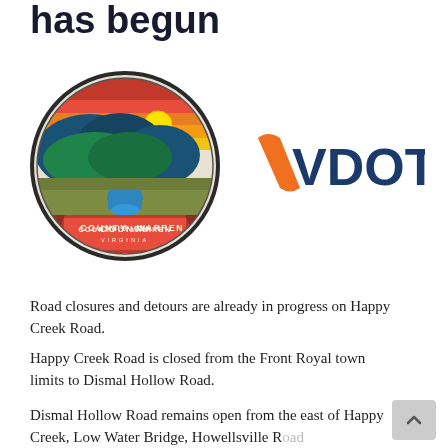has begun
[Figure (logo): County of Warren Virginia seal/logo — circular emblem with mountain landscape, river, and red banner ribbon reading COUNTY of WARREN VIRGINIA, paired with VDOT (Virginia Department of Transportation) logo in orange and dark blue]
Road closures and detours are already in progress on Happy Creek Road.
Happy Creek Road is closed from the Front Royal town limits to Dismal Hollow Road.
Dismal Hollow Road remains open from the east of Happy Creek, Low Water Bridge, Howellsville Road